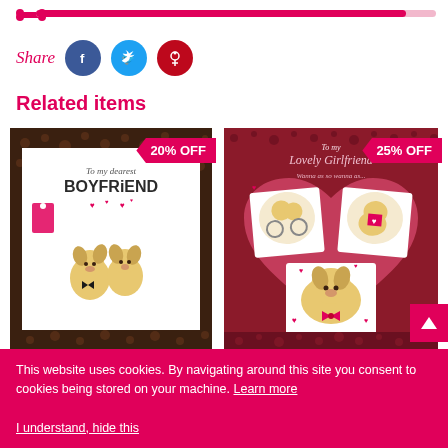[Figure (other): Pink progress bar with bone icon at left, mostly filled]
Share
[Figure (other): Social media share buttons: Facebook (blue circle), Twitter (light blue circle), Pinterest (red circle)]
Related items
[Figure (other): Greeting card showing two cartoon dogs hugging, titled 'To my dearest BOYFRiEND' with dark leopard-print border. Badge: 20% OFF]
[Figure (other): Greeting card showing cartoon dogs on a heart background, titled 'To my Lovely Girlfriend'. Badge: 25% OFF]
This website uses cookies. By navigating around this site you consent to cookies being stored on your machine. Learn more
I understand, hide this